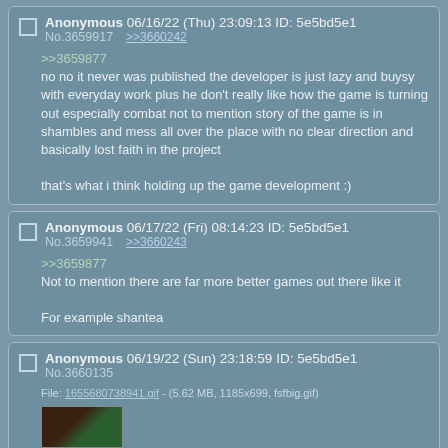Anonymous 06/16/22 (Thu) 23:09:13 ID: 5e5bd5e1
No.3659917 >>3660242
>>3659877
no no it never was published the developer is just lazy and buysy with everyday work plus he don't really like how the game is turning out especially combat not to mention story of the game is in shambles and mess all over the place with no clear direction and basically lost faith in the project

that's what i think holding up the game development :)
Anonymous 06/17/22 (Fri) 08:14:23 ID: 5e5bd5e1
No.3659941 >>3660243
>>3659877
Not to mention there are far more better games out there like it

For example shantea
Anonymous 06/19/22 (Sun) 23:18:59 ID: 5e5bd5e1
No.3660135
File: 1655680738941.gif - (5.62 MB, 1185x699, fsfbig.gif)